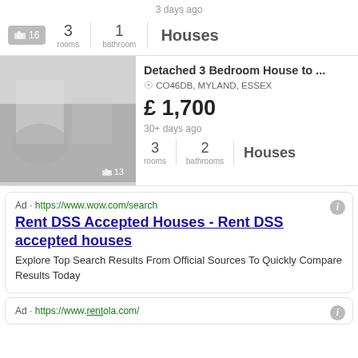3 days ago
16  3 rooms  1 bathroom  Houses
[Figure (photo): Greyscale interior photo of a house room]
Detached 3 Bedroom House to ...
CO46DB, MYLAND, ESSEX
£ 1,700
30+ days ago
13  3 rooms  2 bathrooms  Houses
Ad · https://www.wow.com/search
Rent DSS Accepted Houses - Rent DSS accepted houses
Explore Top Search Results From Official Sources To Quickly Compare Results Today
Ad · https://www.rentola.com/